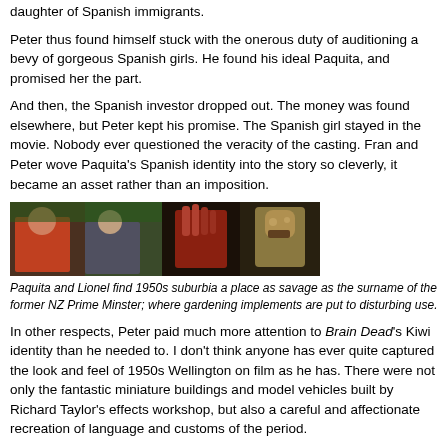daughter of Spanish immigrants.
Peter thus found himself stuck with the onerous duty of auditioning a bevy of gorgeous Spanish girls. He found his ideal Paquita, and promised her the part.
And then, the Spanish investor dropped out. The money was found elsewhere, but Peter kept his promise. The Spanish girl stayed in the movie. Nobody ever questioned the veracity of the casting. Fran and Peter wove Paquita's Spanish identity into the story so cleverly, it became an asset rather than an imposition.
[Figure (photo): A strip of three film stills from Brain Dead: a woman and man in 1950s clothing, a close-up of a bloody hand, a dark figure behind bars, and a grotesque zombie creature.]
Paquita and Lionel find 1950s suburbia a place as savage as the surname of the former NZ Prime Minster; where gardening implements are put to disturbing use.
In other respects, Peter paid much more attention to Brain Dead's Kiwi identity than he needed to. I don't think anyone has ever quite captured the look and feel of 1950s Wellington on film as he has. There were not only the fantastic miniature buildings and model vehicles built by Richard Taylor's effects workshop, but also a careful and affectionate recreation of language and customs of the period.
Essentially, Jackson delivered a popular genre film with universal